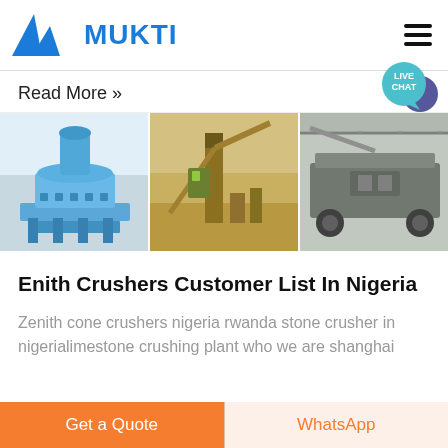MUKTI
Read More »
[Figure (photo): Three industrial crusher machines: a blue vertical shaft impact crusher, an outdoor mining/crushing plant on a construction site, and a mobile crusher unit inside a warehouse.]
Enith Crushers Customer List In Nigeria
Zenith cone crushers nigeria rwanda stone crusher in nigerialimestone crushing plant who we are shanghai
Get a Quote | WhatsApp